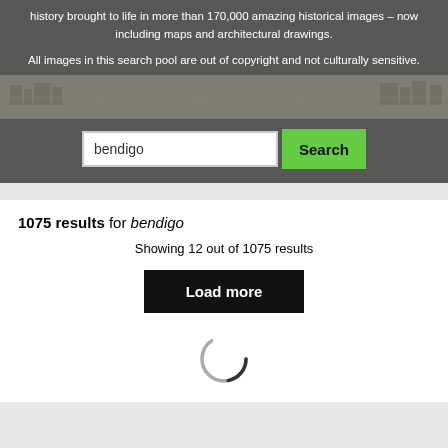history brought to life in more than 170,000 amazing historical images – now including maps and architectural drawings.
All images in this search pool are out of copyright and not culturally sensitive.
[Figure (screenshot): Search bar with text input showing 'bendigo' and a green Search button, on a dark grey background with a historical map strip]
1075 results for bendigo
Showing 12 out of 1075 results
[Figure (other): Black 'Load more' button]
[Figure (other): Loading spinner circle]